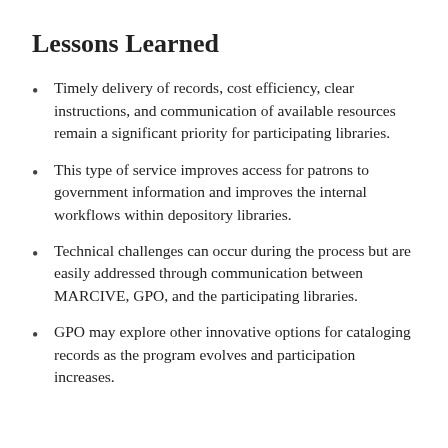Lessons Learned
Timely delivery of records, cost efficiency, clear instructions, and communication of available resources remain a significant priority for participating libraries.
This type of service improves access for patrons to government information and improves the internal workflows within depository libraries.
Technical challenges can occur during the process but are easily addressed through communication between MARCIVE, GPO, and the participating libraries.
GPO may explore other innovative options for cataloging records as the program evolves and participation increases.